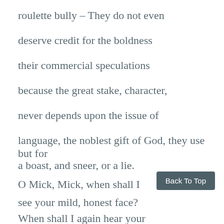roulette bully – They do not even deserve credit for the boldness their commercial speculations because the great stake, character, never depends upon the issue of language, the noblest gift of God, they use but for a boast, and sneer, or a lie. O Mick, Mick, when shall I see your mild, honest face? When shall I again hear your
Back To Top